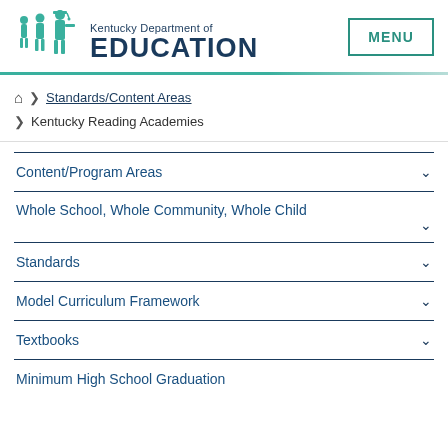[Figure (logo): Kentucky Department of Education logo with silhouette figures of children and graduate]
MENU
Standards/Content Areas > Kentucky Reading Academies
Content/Program Areas
Whole School, Whole Community, Whole Child
Standards
Model Curriculum Framework
Textbooks
Minimum High School Graduation